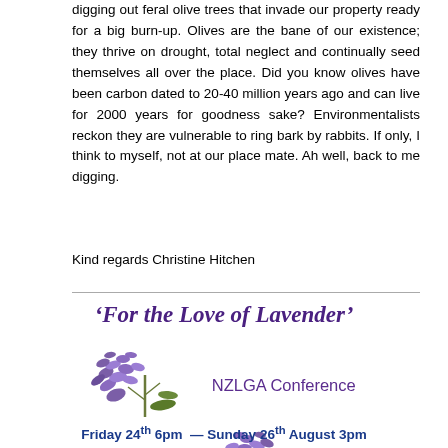digging out feral olive trees that invade our property ready for a big burn-up. Olives are the bane of our existence; they thrive on drought, total neglect and continually seed themselves all over the place. Did you know olives have been carbon dated to 20-40 million years ago and can live for 2000 years for goodness sake? Environmentalists reckon they are vulnerable to ring bark by rabbits. If only, I think to myself, not at our place mate. Ah well, back to me digging.
Kind regards Christine Hitchen
‘For the Love of Lavender’
[Figure (illustration): NZLGA Conference 2018 logo with lavender flower graphics on either side]
Friday 24th 6pm — Sunday 26th August 3pm